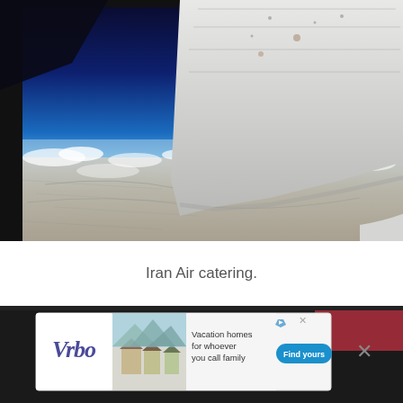[Figure (photo): View from an airplane window showing the aircraft wing and engine against a deep blue sky and horizon with clouds and arid terrain below.]
Iran Air catering.
[Figure (photo): Partially visible second photo at bottom, with a Vrbo advertisement overlay showing vacation homes promotion with Find yours button.]